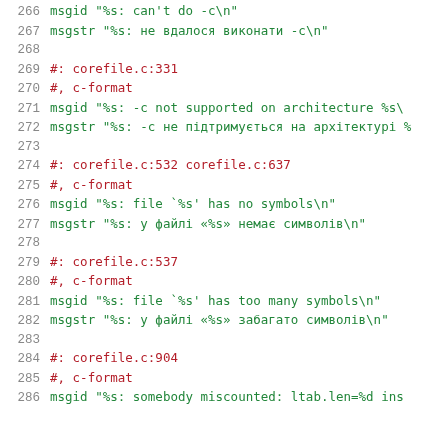Code listing lines 266-286, localization file (.po format) with Ukrainian translations
266  msgid "%s: can't do -c\n"
267  msgstr "%s: не вдалося виконати -c\n"
268  (blank)
269  #: corefile.c:331
270  #, c-format
271  msgid "%s: -c not supported on architecture %s\
272  msgstr "%s: -c не підтримується на архітектурі %
273  (blank)
274  #: corefile.c:532 corefile.c:637
275  #, c-format
276  msgid "%s: file `%s' has no symbols\n"
277  msgstr "%s: у файлі «%s» немає символів\n"
278  (blank)
279  #: corefile.c:537
280  #, c-format
281  msgid "%s: file `%s' has too many symbols\n"
282  msgstr "%s: у файлі «%s» забагато символів\n"
283  (blank)
284  #: corefile.c:904
285  #, c-format
286  msgid "%s: somebody miscounted: ltab.len=%d ins